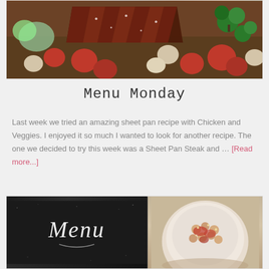[Figure (photo): Sliced steak with roasted vegetables including broccoli, radishes and potatoes on a sheet pan]
Menu Monday
Last week we tried an amazing sheet pan recipe with Chicken and Veggies. I enjoyed it so much I wanted to look for another recipe. The one we decided to try this week was a Sheet Pan Steak and … [Read more...]
[Figure (photo): Two panel image: left panel shows a chalkboard with cursive 'Menu' text, right panel shows a bowl of pasta with tomato sauce]